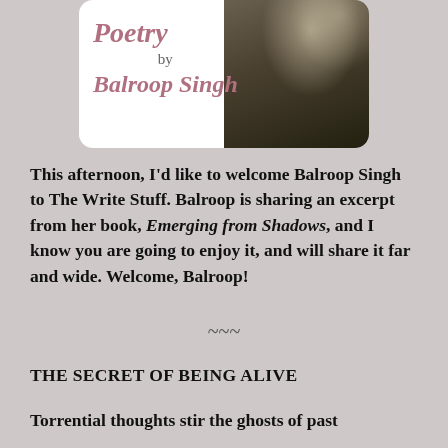[Figure (illustration): Book cover for 'Poetry by Balroop Singh' with white background on left showing stylized italic text and a dark tree/shadow photo on the right]
This afternoon, I'd like to welcome Balroop Singh to The Write Stuff. Balroop is sharing an excerpt from her book, Emerging from Shadows, and I know you are going to enjoy it, and will share it far and wide. Welcome, Balroop!
~~~
THE SECRET OF BEING ALIVE
Torrential thoughts stir the ghosts of past